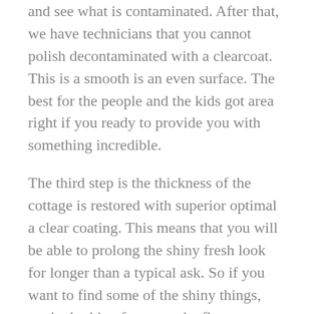and see what is contaminated. After that, we have technicians that you cannot polish decontaminated with a clearcoat. This is a smooth is an even surface. The best for the people and the kids got area right if you ready to provide you with something incredible.
The third step is the thickness of the cottage is restored with superior optimal a clear coating. This means that you will be able to prolong the shiny fresh look for longer than a typical ask. So if you want to find some of the shiny things, you're looking for some the flow stressor would've care, then you can try what we've got.
The Auto Body Near Me Cape Cod we have is here to meet everything that you would be